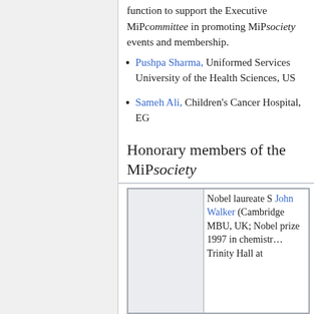function to support the Executive MiPcommittee in promoting MiPsociety events and membership.
Pushpa Sharma, Uniformed Services University of the Health Sciences, US
Sameh Ali, Children's Cancer Hospital, EG
Honorary members of the MiPsociety
| [image] | Nobel laureate S John Walker (Cambridge MBU, UK; Nobel prize 1997 in chemistry Trinity Hall at |